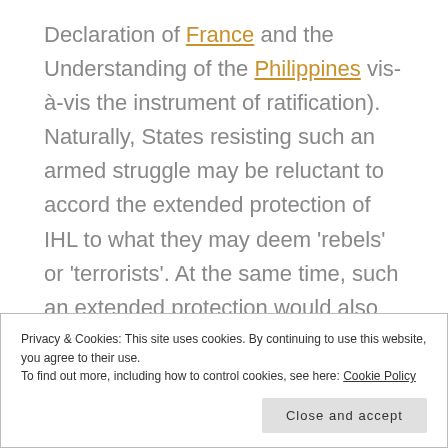Declaration of France and the Understanding of the Philippines vis-à-vis the instrument of ratification). Naturally, States resisting such an armed struggle may be reluctant to accord the extended protection of IHL to what they may deem 'rebels' or 'terrorists'. At the same time, such an extended protection would also entail the legitimization of the struggle – something which the State in question may
Privacy & Cookies: This site uses cookies. By continuing to use this website, you agree to their use.
To find out more, including how to control cookies, see here: Cookie Policy